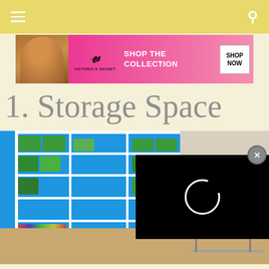Navigation bar with hamburger menu and search icon
[Figure (advertisement): Victoria's Secret advertisement banner with model photo, VS logo, 'SHOP THE COLLECTION' text and 'SHOP NOW' button]
1. Storage Space
[Figure (photo): Photo of a room with large white bookshelves with blue backing, filled with green storage boxes, books, and decorative items. A worktable is visible in the right portion of the image.]
[Figure (screenshot): Black video player overlay with loading spinner circle and X close button]